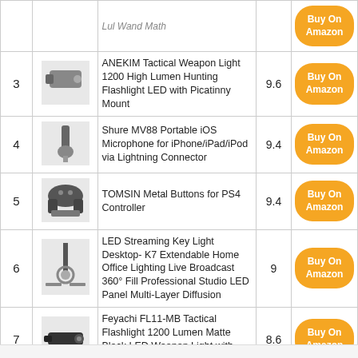| # | Image | Product Name | Score | Link |
| --- | --- | --- | --- | --- |
| 3 | [img] | ANEKIM Tactical Weapon Light 1200 High Lumen Hunting Flashlight LED with Picatinny Mount | 9.6 | Buy On Amazon |
| 4 | [img] | Shure MV88 Portable iOS Microphone for iPhone/iPad/iPod via Lightning Connector | 9.4 | Buy On Amazon |
| 5 | [img] | TOMSIN Metal Buttons for PS4 Controller | 9.4 | Buy On Amazon |
| 6 | [img] | LED Streaming Key Light Desktop- K7 Extendable Home Office Lighting Live Broadcast 360° Fill Professional Studio LED Panel Multi-Layer Diffusion | 9 | Buy On Amazon |
| 7 | [img] | Feyachi FL11-MB Tactical Flashlight 1200 Lumen Matte Black LED Weapon Light with Picatinny Mount | 8.6 | Buy On Amazon |
| 8 | [img] | Beamshot RF9 Mount: Attaches to All Rifles | 8.4 | Buy On Amazon |